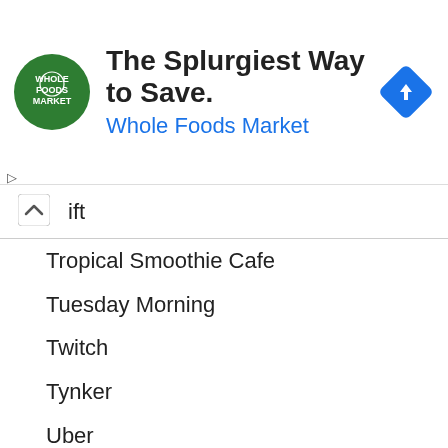[Figure (infographic): Whole Foods Market advertisement banner with green circular logo, headline 'The Splurgiest Way to Save.', subtext 'Whole Foods Market', and a blue diamond navigation arrow icon on the right.]
ift
Tropical Smoothie Cafe
Tuesday Morning
Twitch
Tynker
Uber
Uber Eats
Ulta Beauty
Ultimate Eats
Under Armour
Uniqlo
Uno
U.S. Cellular
Valorant